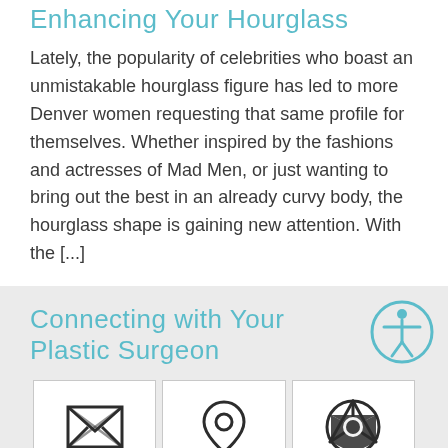Enhancing Your Hourglass
Lately, the popularity of celebrities who boast an unmistakable hourglass figure has led to more Denver women requesting that same profile for themselves. Whether inspired by the fashions and actresses of Mad Men, or just wanting to bring out the best in an already curvy body, the hourglass shape is gaining new attention. With the [...]
Connecting with Your Plastic Surgeon
[Figure (infographic): Three icon boxes: EMAIL US (envelope icon), LOCATION (map pin icon), GALLERY (camera aperture icon)]